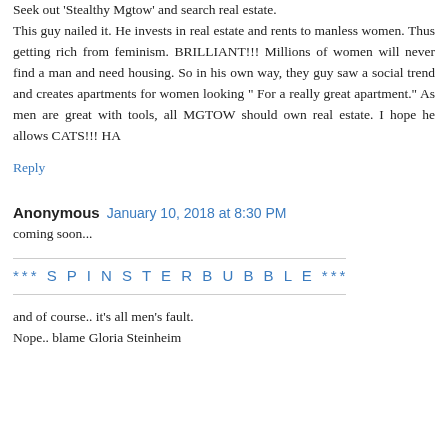Seek out 'Stealthy Mgtow' and search real estate. This guy nailed it. He invests in real estate and rents to manless women. Thus getting rich from feminism. BRILLIANT!!! Millions of women will never find a man and need housing. So in his own way, they guy saw a social trend and creates apartments for women looking " For a really great apartment." As men are great with tools, all MGTOW should own real estate. I hope he allows CATS!!! HA
Reply
Anonymous  January 10, 2018 at 8:30 PM
coming soon...
*** S P I N S T E R B U B B L E ***
and of course.. it's all men's fault.
Nope.. blame Gloria Steinheim